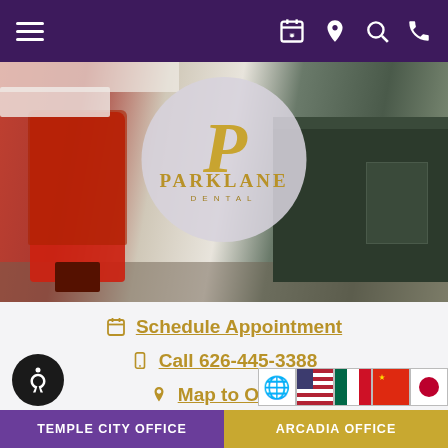Navigation bar with hamburger menu and icons
[Figure (photo): Dental office waiting area with red chairs and dark reception counter. Parklane Dental logo in circular white overlay in center.]
Schedule Appointment
Call 626-445-3388
Map to Office
HOME / YOUR VISIT / COVID UPDATES / OUR RESPONSE
TEMPLE CITY OFFICE | ARCADIA OFFICE